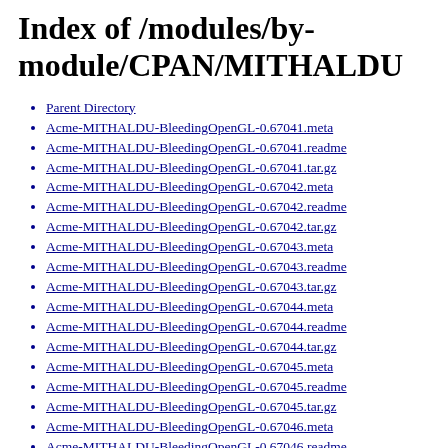Index of /modules/by-module/CPAN/MITHALDU
Parent Directory
Acme-MITHALDU-BleedingOpenGL-0.67041.meta
Acme-MITHALDU-BleedingOpenGL-0.67041.readme
Acme-MITHALDU-BleedingOpenGL-0.67041.tar.gz
Acme-MITHALDU-BleedingOpenGL-0.67042.meta
Acme-MITHALDU-BleedingOpenGL-0.67042.readme
Acme-MITHALDU-BleedingOpenGL-0.67042.tar.gz
Acme-MITHALDU-BleedingOpenGL-0.67043.meta
Acme-MITHALDU-BleedingOpenGL-0.67043.readme
Acme-MITHALDU-BleedingOpenGL-0.67043.tar.gz
Acme-MITHALDU-BleedingOpenGL-0.67044.meta
Acme-MITHALDU-BleedingOpenGL-0.67044.readme
Acme-MITHALDU-BleedingOpenGL-0.67044.tar.gz
Acme-MITHALDU-BleedingOpenGL-0.67045.meta
Acme-MITHALDU-BleedingOpenGL-0.67045.readme
Acme-MITHALDU-BleedingOpenGL-0.67045.tar.gz
Acme-MITHALDU-BleedingOpenGL-0.67046.meta
Acme-MITHALDU-BleedingOpenGL-0.67046.readme
Acme-MITHALDU-BleedingOpenGL-0.67046.tar.gz